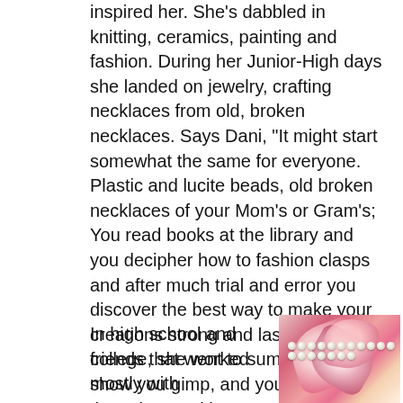inspired her. She's dabbled in knitting, ceramics, painting and fashion. During her Junior-High days she landed on jewelry, crafting necklaces from old, broken necklaces. Says Dani, “It might start somewhat the same for everyone. Plastic and lucite beads, old broken necklaces of your Mom’s or Gram’s; You read books at the library and you decipher how to fashion clasps and after much trial and error you discover the best way to make your creations strong and lasting. Your friends that went to summer school show you gimp, and you incorporate those loops with your Grandmothers’ macrame knots and voila, friendship bracelets.”
In high school and college, she worked mostly with
[Figure (photo): A photo of pearl or white bead necklace draped over pink and red floral fabric petals]